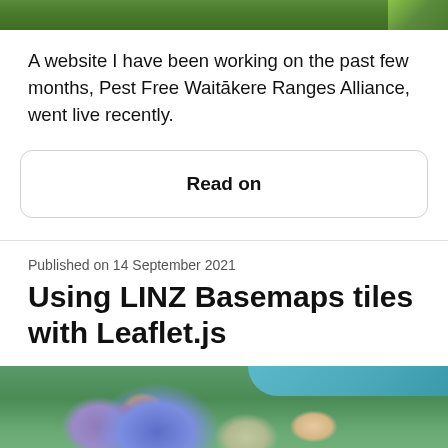[Figure (photo): Top portion of a nature/foliage photo, cropped at top of page]
A website I have been working on the past few months, Pest Free Waitākere Ranges Alliance, went live recently.
Read on
Published on 14 September 2021
Using LINZ Basemaps tiles with Leaflet.js
[Figure (map): Aerial/satellite map showing a region with colored overlays (blue, purple, red, orange areas) indicating geographic zones]